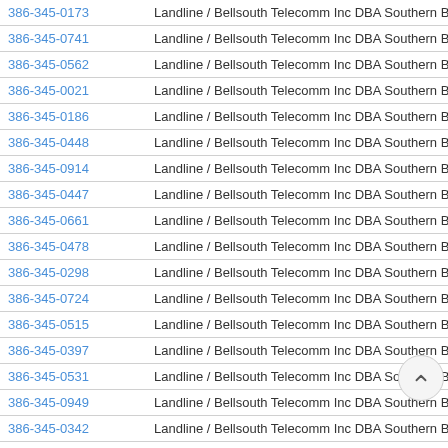| Phone | Type / Carrier |
| --- | --- |
| 386-345-0173 | Landline / Bellsouth Telecomm Inc DBA Southern Bell Tel & Tel |
| 386-345-0741 | Landline / Bellsouth Telecomm Inc DBA Southern Bell Tel & Tel |
| 386-345-0562 | Landline / Bellsouth Telecomm Inc DBA Southern Bell Tel & Tel |
| 386-345-0021 | Landline / Bellsouth Telecomm Inc DBA Southern Bell Tel & Tel |
| 386-345-0186 | Landline / Bellsouth Telecomm Inc DBA Southern Bell Tel & Tel |
| 386-345-0448 | Landline / Bellsouth Telecomm Inc DBA Southern Bell Tel & Tel |
| 386-345-0914 | Landline / Bellsouth Telecomm Inc DBA Southern Bell Tel & Tel |
| 386-345-0447 | Landline / Bellsouth Telecomm Inc DBA Southern Bell Tel & Tel |
| 386-345-0661 | Landline / Bellsouth Telecomm Inc DBA Southern Bell Tel & Tel |
| 386-345-0478 | Landline / Bellsouth Telecomm Inc DBA Southern Bell Tel & Tel |
| 386-345-0298 | Landline / Bellsouth Telecomm Inc DBA Southern Bell Tel & Tel |
| 386-345-0724 | Landline / Bellsouth Telecomm Inc DBA Southern Bell Tel & Tel |
| 386-345-0515 | Landline / Bellsouth Telecomm Inc DBA Southern Bell Tel & Tel |
| 386-345-0397 | Landline / Bellsouth Telecomm Inc DBA Southern Bell Tel & Tel |
| 386-345-0531 | Landline / Bellsouth Telecomm Inc DBA Southern Bell T |
| 386-345-0949 | Landline / Bellsouth Telecomm Inc DBA Southern Bell |
| 386-345-0342 | Landline / Bellsouth Telecomm Inc DBA Southern Bell Tel & Tel |
| 386-345-0809 | Landline / Bellsouth Telecomm Inc DBA Southern Bell Tel & Tel |